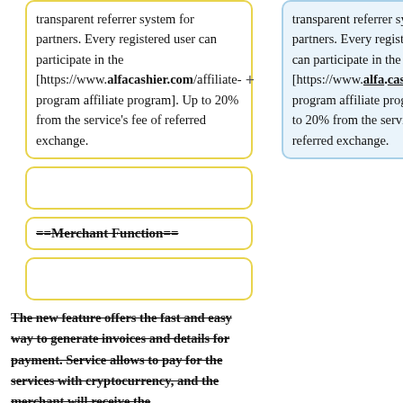transparent referrer system for partners. Every registered user can participate in the [https://www.alfacashier.com/affiliate-program affiliate program]. Up to 20% from the service's fee of referred exchange.
transparent referrer system for partners. Every registered user can participate in the [https://www.alfa.cash/affiliate-program affiliate program]. Up to 20% from the service's fee of referred exchange.
==Merchant Function==
The new feature offers the fast and easy way to generate invoices and details for payment. Service allows to pay for the services with cryptocurrency, and the merchant will receive the